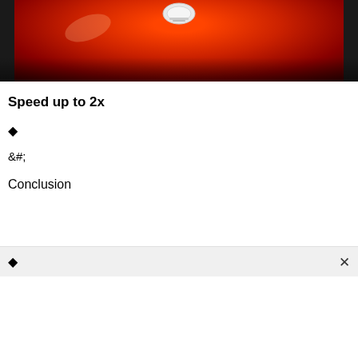[Figure (photo): Close-up photo of a red motorcycle fuel tank with a white fuel cap on top, black background on the sides]
Speed up to 2x
◆
&#;
Conclusion
◆